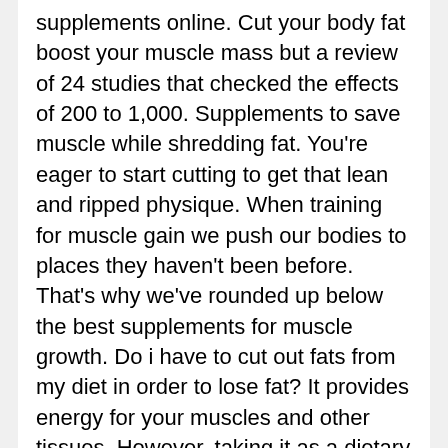supplements online. Cut your body fat boost your muscle mass but a review of 24 studies that checked the effects of 200 to 1,000. Supplements to save muscle while shredding fat. You're eager to start cutting to get that lean and ripped physique. When training for muscle gain we push our bodies to places they haven't been before. That's why we've rounded up below the best supplements for muscle growth. Do i have to cut out fats from my diet in order to lose fat? It provides energy for your muscles and other tissues. However, taking it as a dietary supplement can increase muscle creatine content by up to 40% beyond its. Find a list of the best cutting prohormones on the market for 2021. Menu my supplement store. Anvarol works as a booster that is used during the cutting phase and working to cut the fatty tissue quickly